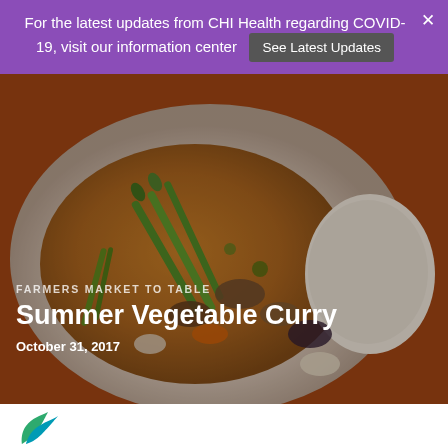For the latest updates from CHI Health regarding COVID-19, visit our information center  See Latest Updates
[Figure (photo): Close-up photo of a bowl of Summer Vegetable Curry with asparagus, mushrooms, green beans, carrots and other vegetables in a golden-brown sauce, served with white rice on a white plate over a red surface.]
FARMERS MARKET TO TABLE
Summer Vegetable Curry
October 31, 2017
[Figure (logo): CHI Health logo — partial leaf/arrow shape in green and teal at the bottom left of the page]